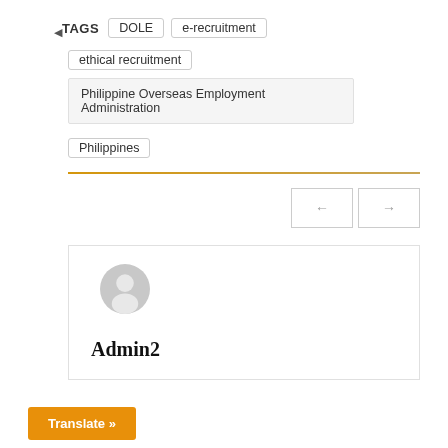TAGS  DOLE  e-recruitment  ethical recruitment  Philippine Overseas Employment Administration  Philippines
[Figure (other): Two navigation buttons (previous/next arrows) side by side with border outlines]
[Figure (other): Author card with generic user avatar (grey circle with person silhouette) and name Admin2]
Admin2
Translate »